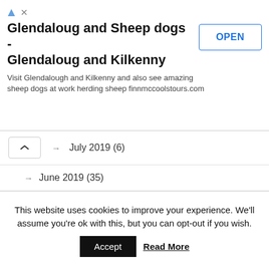[Figure (other): Advertisement banner for 'Glendaloug and Sheep dogs - Glendaloug and Kilkenny' with OPEN button]
Glendaloug and Sheep dogs - Glendaloug and Kilkenny
Visit Glendalough and Kilkenny and also see amazing sheep dogs at work herding sheep finnmccoolstours.com
→ July 2019 (6)
→ June 2019 (35)
→ May 2019 (4)
→ April 2019 (36)
→ March 2019 (43)
→ February 2019 (15)
→ January 2019 (24)
→ December 2018 (14)
This website uses cookies to improve your experience. We'll assume you're ok with this, but you can opt-out if you wish.
Accept   Read More